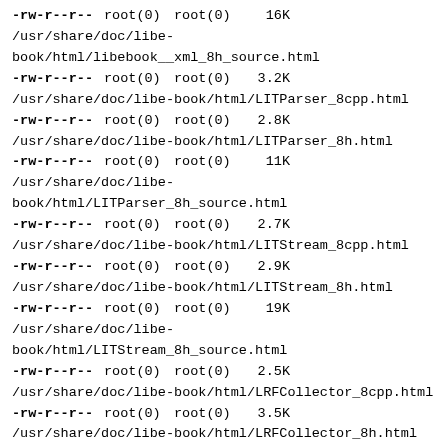-rw-r--r-- root(0) root(0) 16K /usr/share/doc/libe-book/html/libebook__xml_8h_source.html
-rw-r--r-- root(0) root(0) 3.2K /usr/share/doc/libe-book/html/LITParser_8cpp.html
-rw-r--r-- root(0) root(0) 2.8K /usr/share/doc/libe-book/html/LITParser_8h.html
-rw-r--r-- root(0) root(0) 11K /usr/share/doc/libe-book/html/LITParser_8h_source.html
-rw-r--r-- root(0) root(0) 2.7K /usr/share/doc/libe-book/html/LITStream_8cpp.html
-rw-r--r-- root(0) root(0) 2.9K /usr/share/doc/libe-book/html/LITStream_8h.html
-rw-r--r-- root(0) root(0) 19K /usr/share/doc/libe-book/html/LITStream_8h_source.html
-rw-r--r-- root(0) root(0) 2.5K /usr/share/doc/libe-book/html/LRFCollector_8cpp.html
-rw-r--r-- root(0) root(0) 3.5K /usr/share/doc/libe-book/html/LRFCollector_8h.html
-rw-r--r-- root(0) root(0) 46K /usr/share/doc/libe-book/html/LRFCollector_8h_source.html
-rw-r--r-- root(0) root(0) 2.3K /usr/share/doc/libe-book/html/LRFMetadataParser_8cpp.html
-rw-r--r-- root(0) root(0) 2.9K